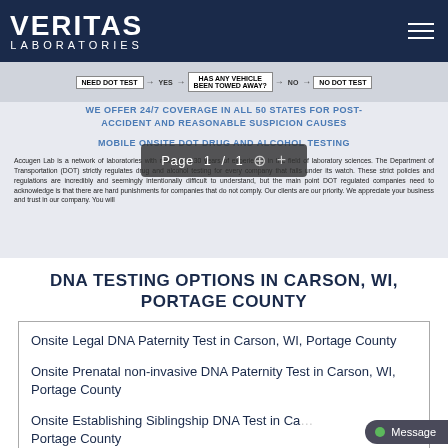VERITAS LABORATORIES
[Figure (flowchart): Partial DOT testing decision flowchart showing boxes: NEED DOT TEST, YES, HAS ANY VEHICLE BEEN TOWED AWAY?, NO, NO DOT TEST]
WE OFFER 24/7 COVERAGE IN ALL 50 STATES FOR POST-ACCIDENT AND REASONABLE SUSPICION CAUSES
MOBILE ONSITE DOT DRUG AND ALCOHOL TESTING
Accugen Lab is a network of laboratories with more than 30 years of experience in the field of laboratory sciences. The Department of Transportation (DOT) strictly regulates drug and alcohol testing for every company that falls under its watch. These strict policies and regulations are incredibly and seemingly intentionally difficult to understand, but the main point DOT regulated companies need to acknowledge is that there are hard punishments for companies that do not comply. Our clients are our priority. We appreciate your business and trust in our company. You will
DNA TESTING OPTIONS IN CARSON, WI, PORTAGE COUNTY
Onsite Legal DNA Paternity Test in Carson, WI, Portage County
Onsite Prenatal non-invasive DNA Paternity Test in Carson, WI, Portage County
Onsite Establishing Siblingship DNA Test in Carson, WI, Portage County